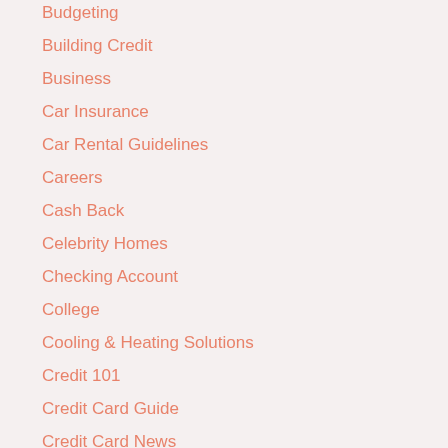Budgeting
Building Credit
Business
Car Insurance
Car Rental Guidelines
Careers
Cash Back
Celebrity Homes
Checking Account
College
Cooling & Heating Solutions
Credit 101
Credit Card Guide
Credit Card News